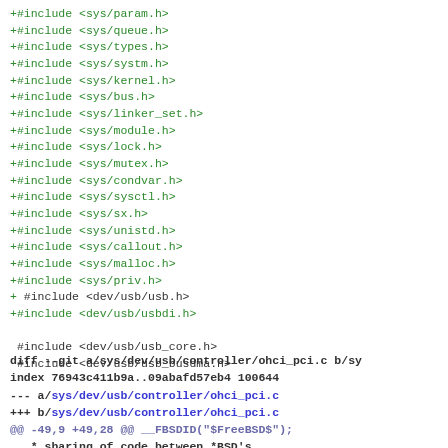+#include <sys/param.h>
+#include <sys/queue.h>
+#include <sys/types.h>
+#include <sys/systm.h>
+#include <sys/kernel.h>
+#include <sys/bus.h>
+#include <sys/linker_set.h>
+#include <sys/module.h>
+#include <sys/lock.h>
+#include <sys/mutex.h>
+#include <sys/condvar.h>
+#include <sys/sysctl.h>
+#include <sys/sx.h>
+#include <sys/unistd.h>
+#include <sys/callout.h>
+#include <sys/malloc.h>
+#include <sys/priv.h>
+
 #include <dev/usb/usb.h>
+#include <dev/usb/usbdi.h>

 #include <dev/usb/usb_core.h>
 #include <dev/usb/usb_busdma.h>
diff --git a/sys/dev/usb/controller/ohci_pci.c b/sy
index 76943c411b9a..09abafd57eb4 100644
--- a/sys/dev/usb/controller/ohci_pci.c
+++ b/sys/dev/usb/controller/ohci_pci.c
@@ -49,9 +49,28 @@ __FBSDID("$FreeBSD$");
   * sharing of code between *BSD's